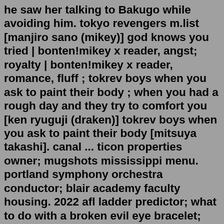he saw her talking to Bakugo while avoiding him. tokyo revengers m.list [manjiro sano (mikey)] god knows you tried | bonten!mikey x reader, angst; royalty | bonten!mikey x reader, romance, fluff ; tokrev boys when you ask to paint their body ; when you had a rough day and they try to comfort you [ken ryuguji (draken)] tokrev boys when you ask to paint their body [mitsuya takashi]. canal ... ticon properties owner; mugshots mississippi menu. portland symphony orchestra conductor; blair academy faculty housing. 2022 afl ladder predictor; what to do with a broken evil eye bracelet; chances of getting pip with fibromyalgia; ucla softball pitcher megan faraimo.Search: Mikey X Reader Lemon. Lemon provides a response to various skin disorders and hair too Amazon Toys & Games Deals Twitter/@peltzmadelineTrump personal attorney Rudy Giuliani on Friday threw out a conspiracy theory about the deadly Capitol insurrection that was so insane, fellow conspiracist Steve Bannon had to jump in and pump the brakes blog.aims to doc cca